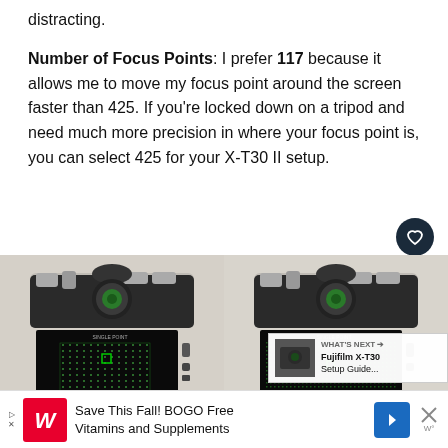distracting.
Number of Focus Points: I prefer 117 because it allows me to move my focus point around the screen faster than 425. If you're locked down on a tripod and need much more precision in where your focus point is, you can select 425 for your X-T30 II setup.
[Figure (photo): Two Fujifilm X-T30 II cameras shown from the back, displaying focus point grids on their LCD screens. The left camera shows 117 focus points and the right shows 425 focus points. UI overlays include a heart/favorite button, share button, and a 'What's Next' panel for Fujifilm X-T30 Setup Guide.]
Save This Fall! BOGO Free Vitamins and Supplements